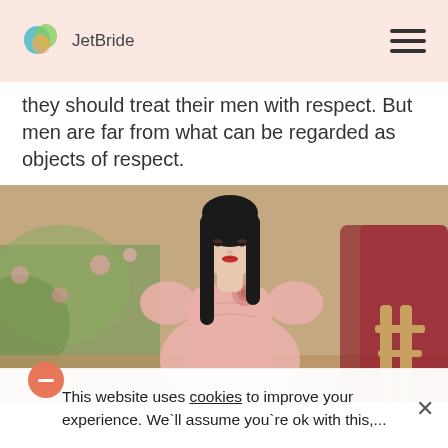JetBride
they should treat their men with respect. But men are far from what can be regarded as objects of respect.
[Figure (photo): Young Asian woman in a light pink ruffled dress with a rose brooch, sitting near a wooden chair outdoors with blurred greenery and pink flowers in the background.]
This website uses cookies to improve your experience. We'll assume you're ok with this,...